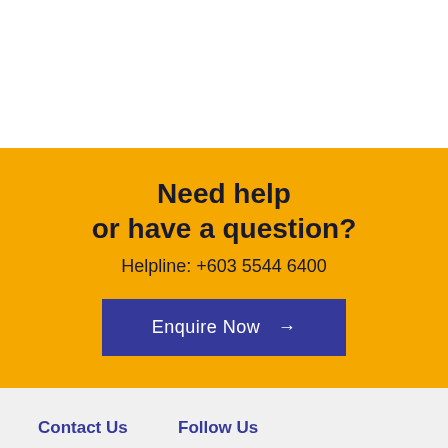Need help or have a question?
Helpline: +603 5544 6400
Enquire Now →
Contact Us
Enquiry
Follow Us